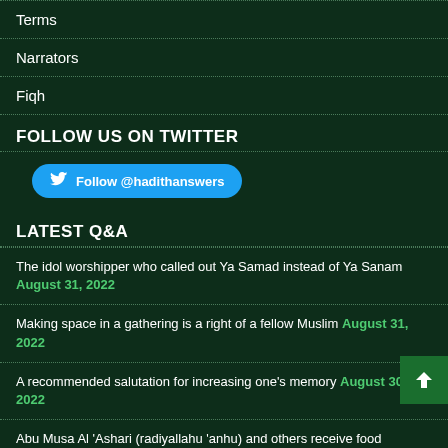Terms
Narrators
Fiqh
FOLLOW US ON TWITTER
[Figure (other): Twitter follow button linking to @hadithanswers]
LATEST Q&A
The idol worshipper who called out Ya Samad instead of Ya Sanam August 31, 2022
Making space in a gathering is a right of a fellow Muslim August 31, 2022
A recommended salutation for increasing one's memory August 30, 2022
Abu Musa Al 'Ashari (radiyallahu 'anhu) and others receive food miraculously August 30, 2022
Fasting three specific days during the sacred months